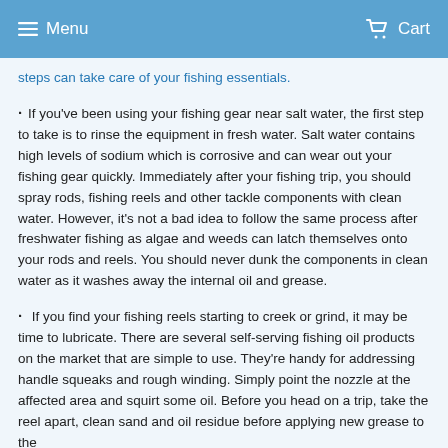Menu  Cart
steps can take care of your fishing essentials.
If you've been using your fishing gear near salt water, the first step to take is to rinse the equipment in fresh water. Salt water contains high levels of sodium which is corrosive and can wear out your fishing gear quickly. Immediately after your fishing trip, you should spray rods, fishing reels and other tackle components with clean water. However, it's not a bad idea to follow the same process after freshwater fishing as algae and weeds can latch themselves onto your rods and reels. You should never dunk the components in clean water as it washes away the internal oil and grease.
If you find your fishing reels starting to creek or grind, it may be time to lubricate. There are several self-serving fishing oil products on the market that are simple to use. They're handy for addressing handle squeaks and rough winding. Simply point the nozzle at the affected area and squirt some oil. Before you head on a trip, take the reel apart, clean sand and oil residue before applying new grease to the